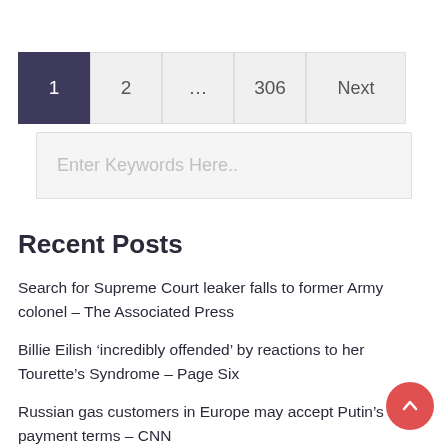[Figure (other): Pagination controls showing page 1 (active/dark), 2, ..., 306, Next]
[Figure (other): Search input field with placeholder text 'Enter Keywords Here..']
Recent Posts
Search for Supreme Court leaker falls to former Army colonel – The Associated Press
Billie Eilish ‘incredibly offended’ by reactions to her Tourette’s Syndrome – Page Six
Russian gas customers in Europe may accept Putin’s payment terms – CNN